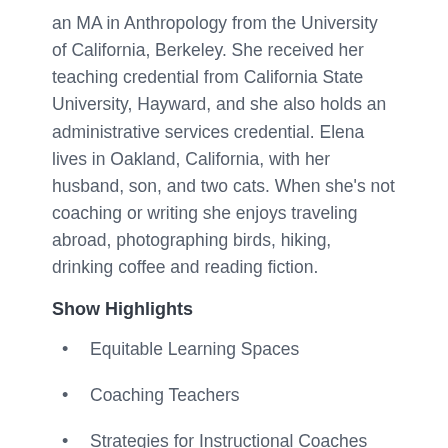an MA in Anthropology from the University of California, Berkeley. She received her teaching credential from California State University, Hayward, and she also holds an administrative services credential. Elena lives in Oakland, California, with her husband, son, and two cats. When she's not coaching or writing she enjoys traveling abroad, photographing birds, hiking, drinking coffee and reading fiction.
Show Highlights
Equitable Learning Spaces
Coaching Teachers
Strategies for Instructional Coaches